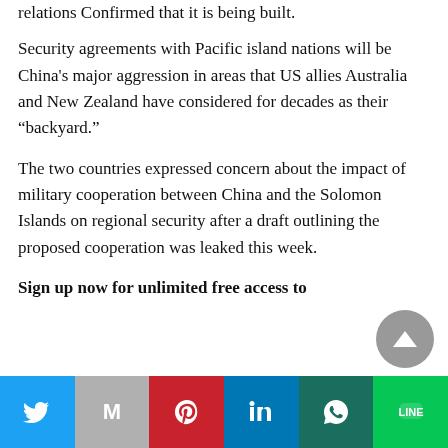relations Confirmed that it is being built.
Security agreements with Pacific island nations will be China's major aggression in areas that US allies Australia and New Zealand have considered for decades as their “backyard.”
The two countries expressed concern about the impact of military cooperation between China and the Solomon Islands on regional security after a draft outlining the proposed cooperation was leaked this week.
Sign up now for unlimited free access to